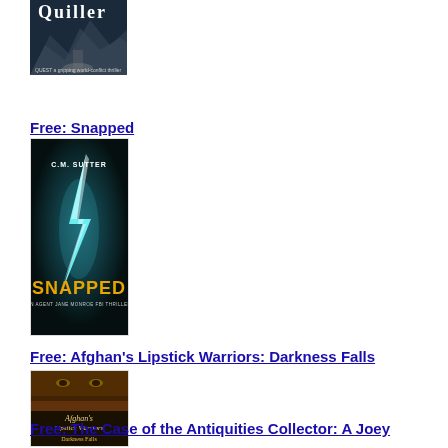[Figure (photo): Partial book cover at top of page, partially cropped, showing mountainous/landscape scene with text 'Quiller' at top]
Free: Snapped
[Figure (photo): Book cover for 'Snapped' by C.M. Sutter - dark teal background with lightning bolt design, 'SNAPPED' in yellow text, 'An Agent Jane Monroe FBI Thriller' subtitle]
Free: Afghan's Lipstick Warriors: Darkness Falls
[Figure (photo): Book cover for 'Afghan's Lipstick Warriors: Darkness Falls' by Gary Paul Corcoran - showing eyes with veil, dark dramatic sky, silhouette figure]
Free: The Case of the Antiquities Collector: A Joey